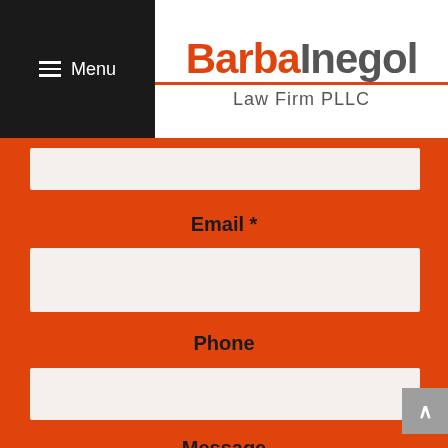Menu
[Figure (logo): BarbaInegol Law Firm PLLC logo with orange and gray text and orange underline]
Email *
Phone
Message